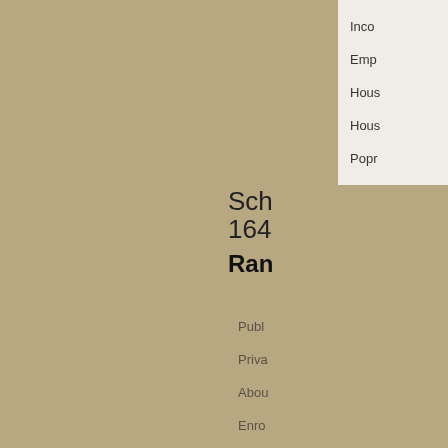Inco...
Emp...
Hous...
Hous...
Popr...
Sch... 164...
Ran...
Publ...
Priva...
Abou...
Enro...